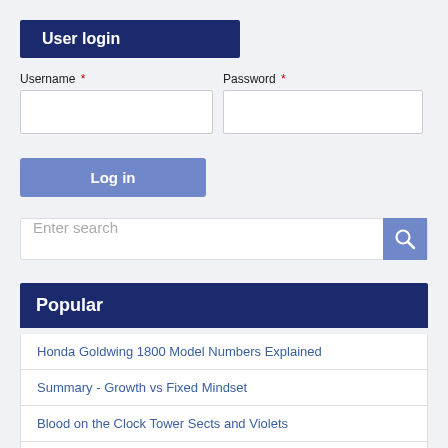User login
Username *
Password *
Log in
Enter search
Popular
Honda Goldwing 1800 Model Numbers Explained
Summary - Growth vs Fixed Mindset
Blood on the Clock Tower Sects and Violets
British Isles Cruise